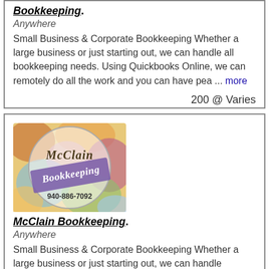Bookkeeping.
Anywhere
Small Business & Corporate Bookkeeping Whether a large business or just starting out, we can handle all bookkeeping needs. Using Quickbooks Online, we can remotely do all the work and you can have pea ... more
200 @ Varies
[Figure (logo): McClain Bookkeeping circular logo with colorful abstract painting background, purple diagonal banner, script text reading McClain Bookkeeping, and phone number 940-886-7092]
McClain Bookkeeping.
Anywhere
Small Business & Corporate Bookkeeping Whether a large business or just starting out, we can handle